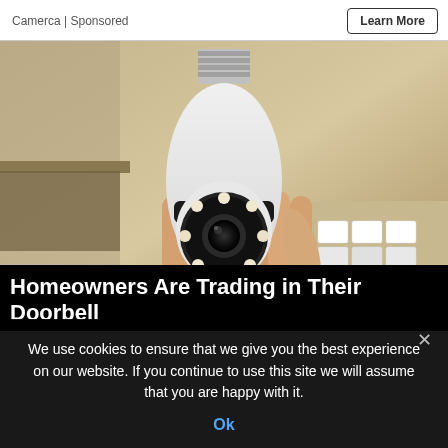Camerca | Sponsored
[Figure (photo): A hand holding a white bulb-shaped security camera with LED lights and a lens, against a background of cardboard shelving and small white items. The camera has a screw-type base like a light bulb.]
Homeowners Are Trading in Their Doorbell
We use cookies to ensure that we give you the best experience on our website. If you continue to use this site we will assume that you are happy with it.
Ok